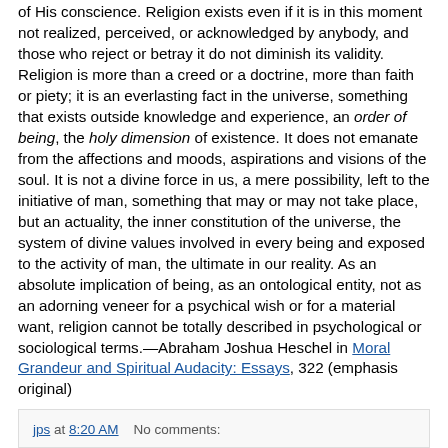of His conscience. Religion exists even if it is in this moment not realized, perceived, or acknowledged by anybody, and those who reject or betray it do not diminish its validity. Religion is more than a creed or a doctrine, more than faith or piety; it is an everlasting fact in the universe, something that exists outside knowledge and experience, an order of being, the holy dimension of existence. It does not emanate from the affections and moods, aspirations and visions of the soul. It is not a divine force in us, a mere possibility, left to the initiative of man, something that may or may not take place, but an actuality, the inner constitution of the universe, the system of divine values involved in every being and exposed to the activity of man, the ultimate in our reality. As an absolute implication of being, as an ontological entity, not as an adorning veneer for a psychical wish or for a material want, religion cannot be totally described in psychological or sociological terms.—Abraham Joshua Heschel in Moral Grandeur and Spiritual Audacity: Essays, 322 (emphasis original)
jps at 8:20 AM   No comments: